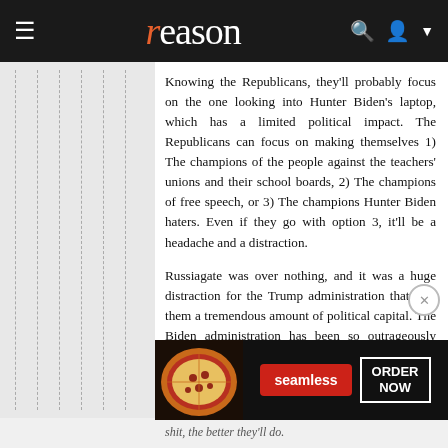reason
Knowing the Republicans, they'll probably focus on the one looking into Hunter Biden's laptop, which has a limited political impact. The Republicans can focus on making themselves 1) The champions of the people against the teachers' unions and their school boards, 2) The champions of free speech, or 3) The champions Hunter Biden haters. Even if they go with option 3, it'll be a headache and a distraction.
Russiagate was over nothing, and it was a huge distraction for the Trump administration that cost them a tremendous amount of political capital. The Biden administration has been so outrageously unaccountable, I don't think you start an investigation into them without finding something legitimate, and this socialist presidency really needs a distraction and a drain on their political capital. As bad as Biden's opinion polls are now, how much worse will they be when his misbehavior is brought to the attention of more swing voters?
[Figure (advertisement): Seamless food delivery advertisement with pizza image, red Seamless button, and ORDER NOW button on dark background]
shit, the better they'll do.